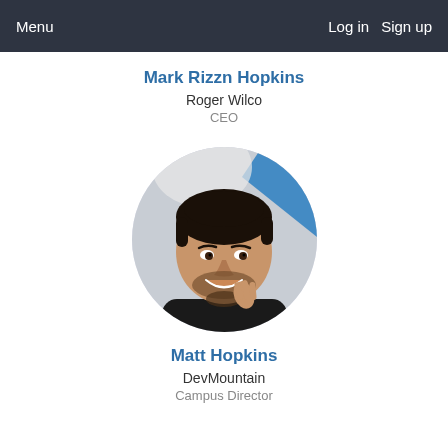Menu   Log in   Sign up
Mark Rizzn Hopkins
Roger Wilco
CEO
[Figure (photo): Circular profile photo of Matt Hopkins, a man with dark hair and beard, smiling with hands together, in an office setting with a blue background element]
Matt Hopkins
DevMountain
Campus Director